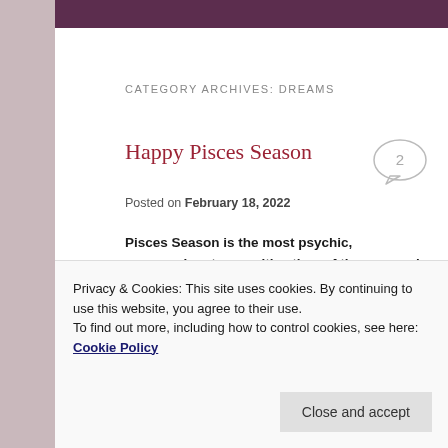CATEGORY ARCHIVES: DREAMS
Happy Pisces Season
Posted on February 18, 2022
Pisces Season is the most psychic, compassionate, sensitive time of the year and with Jupiter co-ruler of PISCES co-present with Neptune the Modern Ruler from February 18 to March 20 it's a dreamy time.
HAPPY PISCES SEASON, the most psychic, dreamy...
Privacy & Cookies: This site uses cookies. By continuing to use this website, you agree to their use. To find out more, including how to control cookies, see here: Cookie Policy